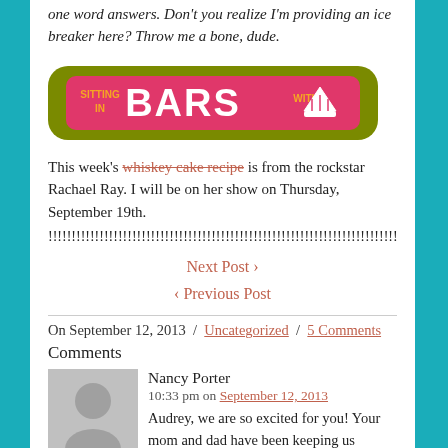one word answers. Don't you realize I'm providing an ice breaker here? Throw me a bone, dude.
[Figure (logo): Sitting in Bars with Cake logo — olive green pill-shaped badge with pink center reading 'BARS' in large white letters, 'SITTING IN' and 'WITH' in smaller orange text, and a cake slice icon on the right]
Shirleys, and we almost this year.
This week's whiskey cake recipe is from the rockstar Rachael Ray. I will be on her show on Thursday, September 19th.
!!!!!!!!!!!!!!!!!!!!!!!!!!!!!!!!!!!!!!!!!!!!!!!!!!!!!!!!!!!!!!!!!!!!!!!!!!!!!!!!!!!!!
Next Post ›
‹ Previous Post
On September 12, 2013  /  Uncategorized  /  5 Comments
Comments
[Figure (photo): Gray avatar silhouette placeholder image for commenter Nancy Porter]
Nancy Porter
10:33 pm on September 12, 2013
Audrey, we are so excited for you! Your mom and dad have been keeping us updated on things. We will definetly be watching.